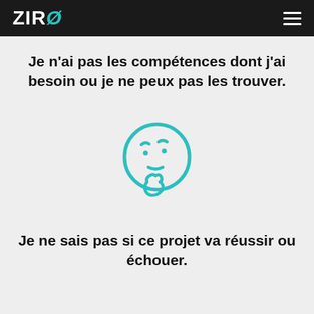ZIRO
Je n'ai pas les compétences dont j'ai besoin ou je ne peux pas les trouver.
[Figure (illustration): Thinking face emoji outline in teal/turquoise color, showing a face with a hand on chin in a contemplative pose]
Je ne sais pas si ce projet va réussir ou échouer.